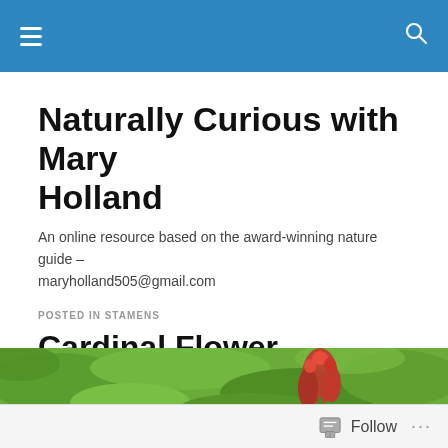Navigation bar with hamburger menu and search icon
Naturally Curious with Mary Holland
An online resource based on the award-winning nature guide – maryholland505@gmail.com
POSTED IN STAMENS
Cardinal Flower Blossoming
[Figure (photo): Close-up photo of a cardinal flower (red flower buds) against a green leafy background]
Follow ...